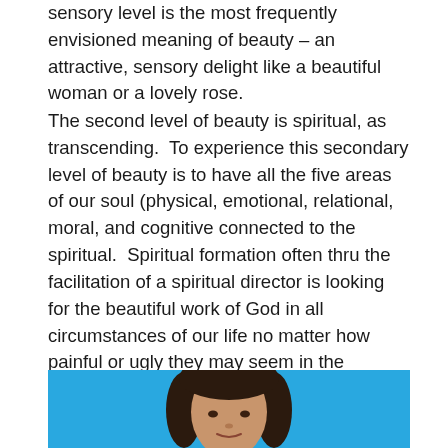sensory level is the most frequently envisioned meaning of beauty – an attractive, sensory delight like a beautiful woman or a lovely rose.
The second level of beauty is spiritual, as transcending.  To experience this secondary level of beauty is to have all the five areas of our soul (physical, emotional, relational, moral, and cognitive connected to the spiritual.  Spiritual formation often thru the facilitation of a spiritual director is looking for the beautiful work of God in all circumstances of our life no matter how painful or ugly they may seem in the moment.
[Figure (photo): Photo of a woman with dark hair against a bright blue background, cropped at the bottom of the page showing head and shoulders]